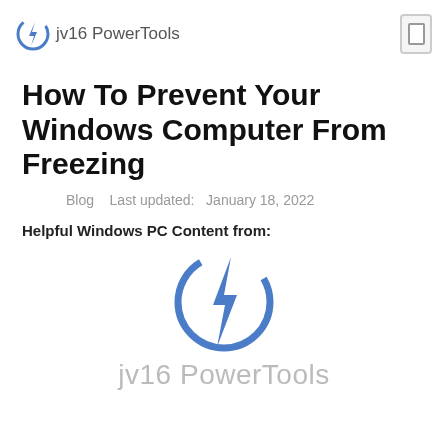jv16 PowerTools
How To Prevent Your Windows Computer From Freezing
Blog   Last updated:   January 18, 2022
Helpful Windows PC Content from:
[Figure (logo): jv16 PowerTools logo — blue lightning bolt inside a circular arc, with text 'jv16 PowerTools' below in gray]